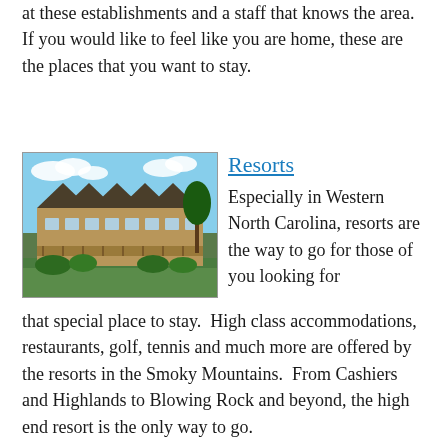at these establishments and a staff that knows the area.  If you would like to feel like you are home, these are the places that you want to stay.
[Figure (photo): Photo of a large mountain lodge/resort building with green lawn in the foreground and trees and mountains in the background.]
Resorts
Especially in Western North Carolina, resorts are the way to go for those of you looking for that special place to stay.  High class accommodations, restaurants, golf, tennis and much more are offered by the resorts in the Smoky Mountains.  From Cashiers and Highlands to Blowing Rock and beyond, the high end resort is the only way to go.